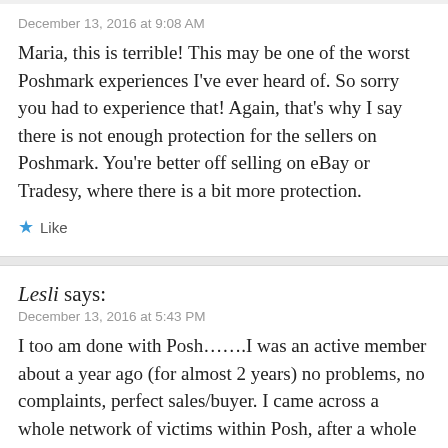December 13, 2016 at 9:08 AM
Maria, this is terrible! This may be one of the worst Poshmark experiences I’ve ever heard of. So sorry you had to experience that! Again, that’s why I say there is not enough protection for the sellers on Poshmark. You’re better off selling on eBay or Tradesy, where there is a bit more protection.
★ Like
Lesli says:
December 13, 2016 at 5:43 PM
I too am done with Posh…….I was an active member about a year ago (for almost 2 years) no problems, no complaints, perfect sales/buyer. I came across a whole network of victims within Posh, after a whole being scammed by “Julia”. I